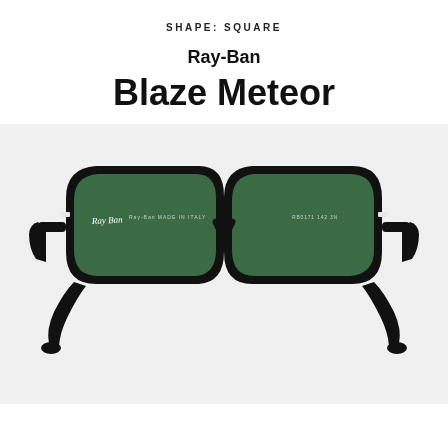SHAPE: SQUARE
Ray-Ban
Blaze Meteor
[Figure (photo): Ray-Ban Blaze Meteor sunglasses with black thick square frame and dark green lenses, viewed from the front]